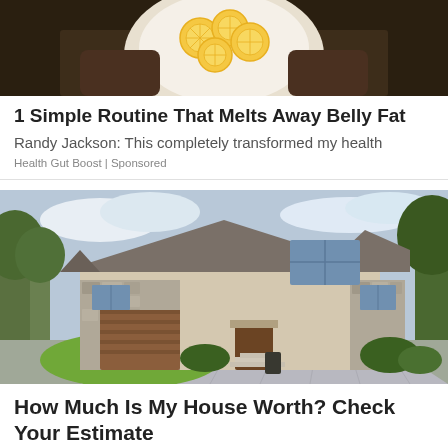[Figure (photo): Hands holding a bowl with lemon slices on top, food/health themed image]
1 Simple Routine That Melts Away Belly Fat
Randy Jackson: This completely transformed my health
Health Gut Boost | Sponsored
[Figure (photo): Large luxury two-story house with stone exterior, brown garage door, and brick driveway surrounded by green lawn]
How Much Is My House Worth? Check Your Estimate